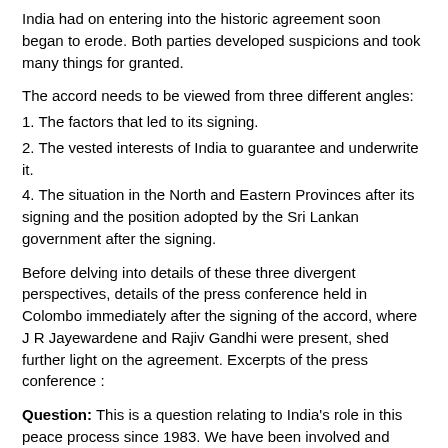India had on entering into the historic agreement soon began to erode. Both parties developed suspicions and took many things for granted.
The accord needs to be viewed from three different angles:
1. The factors that led to its signing.
2. The vested interests of India to guarantee and underwrite it.
4. The situation in the North and Eastern Provinces after its signing and the position adopted by the Sri Lankan government after the signing.
Before delving into details of these three divergent perspectives, details of the press conference held in Colombo immediately after the signing of the accord, where J R Jayewardene and Rajiv Gandhi were present, shed further light on the agreement. Excerpts of the press conference :
Question: This is a question relating to India's role in this peace process since 1983. We have been involved and India too has been involved with its good offices, not as a negotiator and not certainly as party to the agreement. There appears to be a sharp rise in the new round and India is a party and an underwriter, a guarantor and so on. What makes you to take this rather significant step? If I ask the